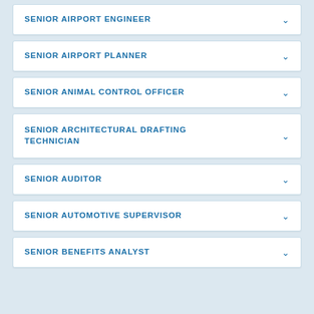SENIOR AIRPORT ENGINEER
SENIOR AIRPORT PLANNER
SENIOR ANIMAL CONTROL OFFICER
SENIOR ARCHITECTURAL DRAFTING TECHNICIAN
SENIOR AUDITOR
SENIOR AUTOMOTIVE SUPERVISOR
SENIOR BENEFITS ANALYST